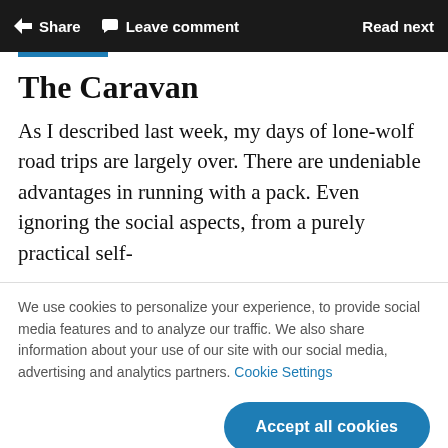Share  Leave comment  Read next
The Caravan
As I described last week, my days of lone-wolf road trips are largely over. There are undeniable advantages in running with a pack. Even ignoring the social aspects, from a purely practical self-
We use cookies to personalize your experience, to provide social media features and to analyze our traffic. We also share information about your use of our site with our social media, advertising and analytics partners. Cookie Settings
Accept all cookies